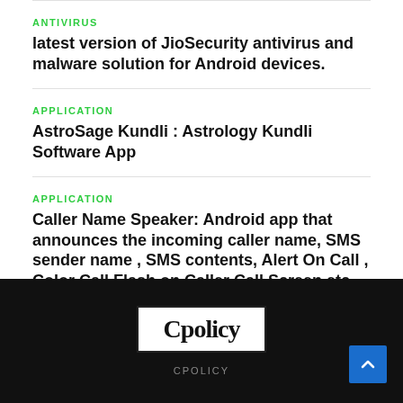ANTIVIRUS
latest version of JioSecurity antivirus and malware solution for Android devices.
APPLICATION
AstroSage Kundli : Astrology Kundli Software App
APPLICATION
Caller Name Speaker: Android app that announces the incoming caller name, SMS sender name , SMS contents, Alert On Call , Color Call Flash on Caller Call Screen etc
Cpolicy
CPOLICY